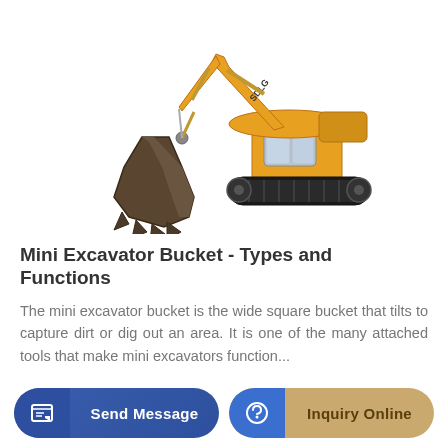[Figure (photo): SDLG brand yellow hydraulic excavator with articulated arm and large bucket attachment, shown on white background]
Mini Excavator Bucket - Types and Functions
The mini excavator bucket is the wide square bucket that tilts to capture dirt or dig out an area. It is one of the many attached tools that make mini excavators function...